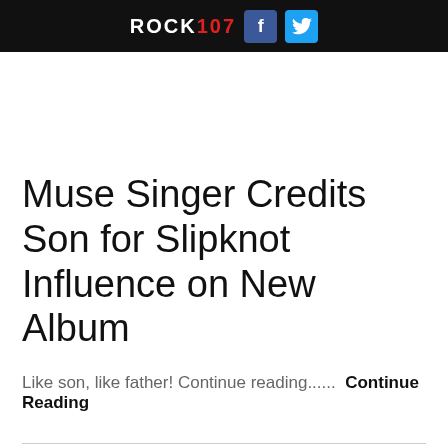ROCK107 [Facebook] [Twitter]
Muse Singer Credits Son for Slipknot Influence on New Album
Like son, like father! Continue reading...... Continue Reading